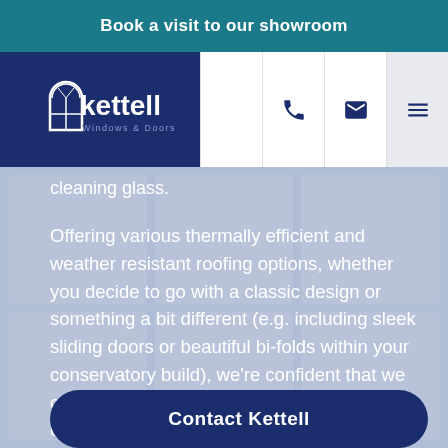Book a visit to our showroom
[Figure (logo): Kettell Windows & Doors logo with arch window icon]
cleaning glass.
Offering various thermally efficient and weather resistant roofing options, whether you decide to go with a classic design or something a bit different (e.g. including sleek sliding doors or beautiful bi-folds within your conservatory build), we're confident that we can accommodate your needs with a cost-effective and value-adding lean-to conservatory installation.
Contact Kettell